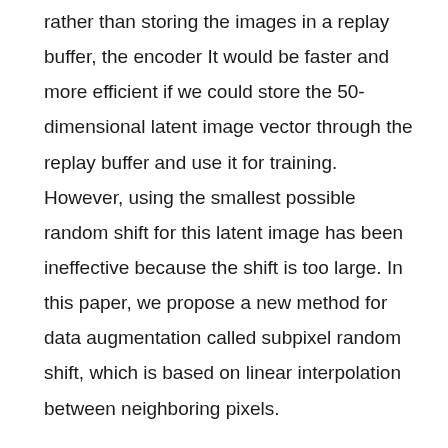rather than storing the images in a replay buffer, the encoder It would be faster and more efficient if we could store the 50-dimensional latent image vector through the replay buffer and use it for training. However, using the smallest possible random shift for this latent image has been ineffective because the shift is too large. In this paper, we propose a new method for data augmentation called subpixel random shift, which is based on linear interpolation between neighboring pixels.
An analysis of the use of adjacent transitions: Atari's
For the Breakout task only, we found out that it is more